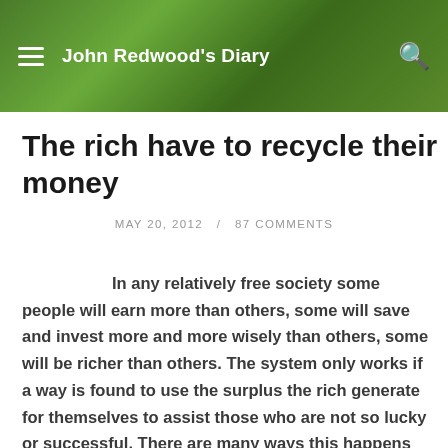John Redwood's Diary
The rich have to recycle their money
MAY 20, 2012   /   87 COMMENTS
In any relatively free society some people will earn more than others, some will save and invest more and more wisely than others, some will be richer than others. The system only works if a way is found to use the surplus the rich generate for themselves to assist those who are not so lucky or successful. There are many ways this happens without most people noticing.